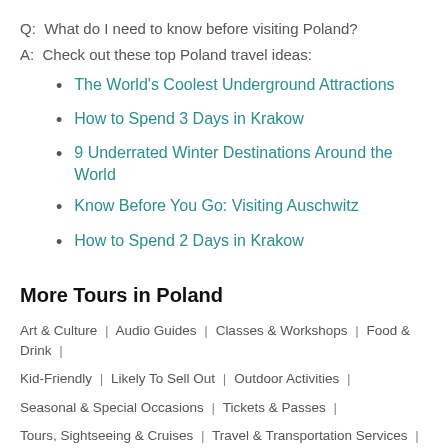Q:  What do I need to know before visiting Poland?
A:  Check out these top Poland travel ideas:
The World's Coolest Underground Attractions
How to Spend 3 Days in Krakow
9 Underrated Winter Destinations Around the World
Know Before You Go: Visiting Auschwitz
How to Spend 2 Days in Krakow
More Tours in Poland
Art & Culture | Audio Guides | Classes & Workshops | Food & Drink |
Kid-Friendly | Likely To Sell Out | Outdoor Activities |
Seasonal & Special Occasions | Tickets & Passes |
Tours, Sightseeing & Cruises | Travel & Transportation Services |